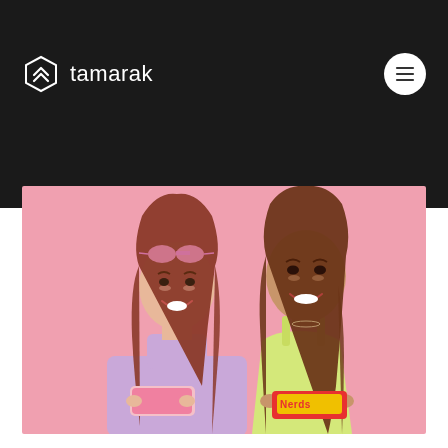tamarak
[Figure (photo): Two young women smiling and holding candy/snack bars against a pink background. The woman on the left wears a lavender/purple turtleneck sweater and has pink sunglasses on her head, holding a pink item. The woman on the right wears a yellow cami top and holds a Nerds candy box.]